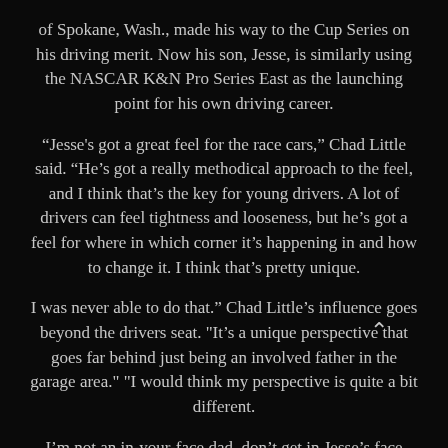of Spokane, Wash., made his way to the Cup Series on his driving merit. Now his son, Jesse, is similarly using the NASCAR K&N Pro Series East as the launching point for his own driving career.
“Jesse's got a great feel for the race cars,” Chad Little said. “He’s got a really methodical approach to the feel, and I think that’s the key for young drivers. A lot of drivers can feel tightness and looseness, but he’s got a feel for where in which corner it’s happening in and how to change it. I think that’s pretty unique.
I was never able to do that.” Chad Little’s influence goes beyond the drivers seat. "It’s a unique perspective that goes far behind just being an involved father in the garage area." "I would think my perspective is quite a bit different.
I’m not an in-your-face dad, don’t get in Jesse’s face